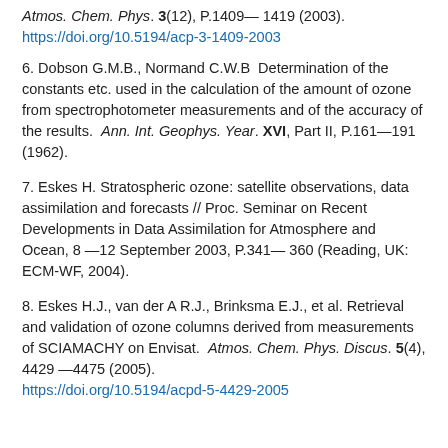Atmos. Chem. Phys. 3(12), P.1409— 1419 (2003). https://doi.org/10.5194/acp-3-1409-2003
6. Dobson G.M.B., Normand C.W.B  Determination of the constants etc. used in the calculation of the amount of ozone from spectrophotometer measurements and of the accuracy of the results.  Ann. Int. Geophys. Year. XVI, Part II, P.161—191 (1962).
7. Eskes H. Stratospheric ozone: satellite observations, data assimilation and forecasts // Proc. Seminar on Recent Developments in Data Assimilation for Atmosphere and Ocean, 8 —12 September 2003, P.341— 360 (Reading, UK: ECM-WF, 2004).
8. Eskes H.J., van der A R.J., Brinksma E.J., et al. Retrieval and validation of ozone columns derived from measurements of SCIAMACHY on Envisat.  Atmos. Chem. Phys. Discus. 5(4), 4429 —4475 (2005). https://doi.org/10.5194/acpd-5-4429-2005